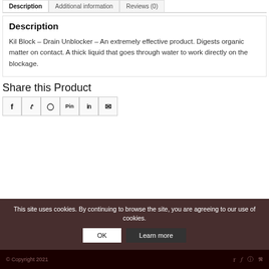Description | Additional information | Reviews (0)
Description
Kil Block – Drain Unblocker – An extremely effective product. Digests organic matter on contact. A thick liquid that goes through water to work directly on the blockage.
Share this Product
[Figure (other): Social sharing icons: Facebook (f), Twitter (t), WhatsApp (circle w), Pinterest (Pin), LinkedIn (in), Email (envelope)]
This site uses cookies. By continuing to browse the site, you are agreeing to our use of cookies.
© Copyright 2021